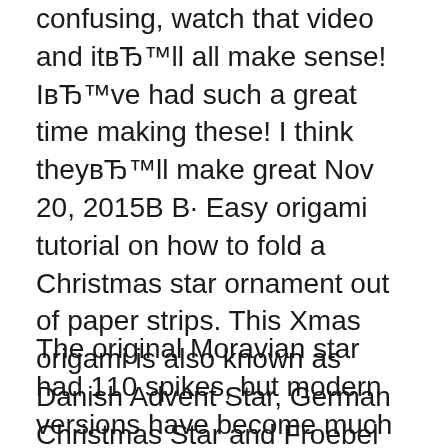confusing, watch that video and it'll all make sense! I've had such a great time making these! I think they'll make great Nov 20, 2015В В· Easy origami tutorial on how to fold a Christmas star ornament out of paper strips. This Xmas origami is also known as Danish Advent Star, German Christmas Star and Froebel Star ornament.
The original Moravian star had 110 spikes, but modern versions have become much smaller. Take about 15 minutes and fold a 16-point star from four strips of paper to create a star to hang as a Christmas ornament or use to decorate a gift. Lederhosen, Oktoberfest